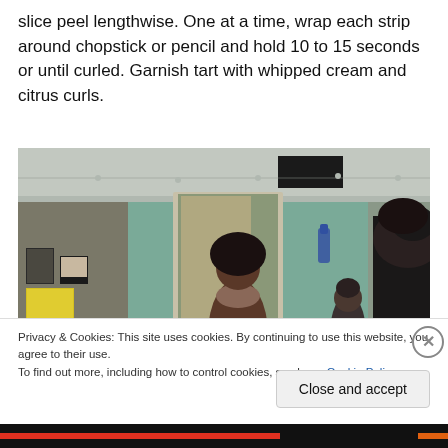slice peel lengthwise. One at a time, wrap each strip around chopstick or pencil and hold 10 to 15 seconds or until curled. Garnish tart with whipped cream and citrus curls.
[Figure (photo): Indoor scene showing several people in a room with teal/green walls and a ceiling with wires running along it. A person with an afro hairstyle stands near a doorway in the center, another person is visible in the background, and a third person in black is seen from behind on the right side.]
Privacy & Cookies: This site uses cookies. By continuing to use this website, you agree to their use.
To find out more, including how to control cookies, see here: Cookie Policy
Close and accept